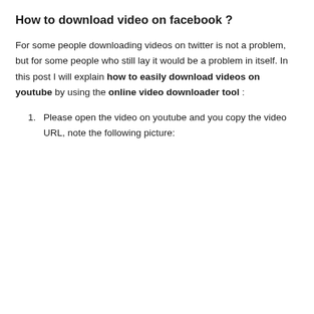How to download video on facebook ?
For some people downloading videos on twitter is not a problem, but for some people who still lay it would be a problem in itself. In this post I will explain how to easily download videos on youtube by using the online video downloader tool :
Please open the video on youtube and you copy the video URL, note the following picture: